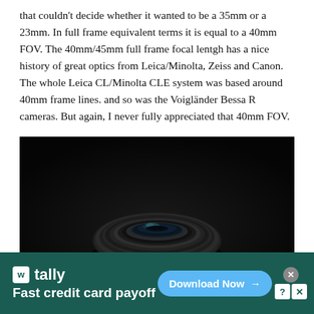that couldn't decide whether it wanted to be a 35mm or a 23mm. In full frame equivalent terms it is equal to a 40mm FOV. The 40mm/45mm full frame focal lentgh has a nice history of great optics from Leica/Minolta, Zeiss and Canon. The whole Leica CL/Minolta CLE system was based around 40mm frame lines. and so was the Voigländer Bessa R cameras. But again, I never fully appreciated that 40mm FOV.
[Figure (photo): Close-up photograph of a camera lens (appears to be a Voigtländer or similar 40mm pancake lens) on a dark background, shot from slightly above. The lens is dark/black with visible aperture blades and front element.]
[Figure (other): Advertisement banner for Tally app: 'Fast credit card payoff' with a Download Now button, on a dark teal/green background.]